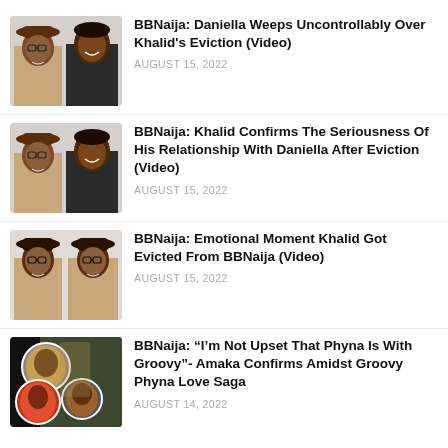[Figure (photo): Two people side by side: a man wearing a brown hat, glasses, and tan jacket; a woman smiling in a dark turtleneck]
BBNaija: Daniella Weeps Uncontrollably Over Khalid's Eviction (Video)
AUGUST 15, 2022
[Figure (photo): Two people side by side: a man wearing a brown hat, glasses, and tan jacket; a woman smiling in a dark turtleneck]
BBNaija: Khalid Confirms The Seriousness Of His Relationship With Daniella After Eviction (Video)
AUGUST 15, 2022
[Figure (photo): Two images of the same man wearing a dark-brimmed hat, glasses, and tan jacket, shown side by side]
BBNaija: Emotional Moment Khalid Got Evicted From BBNaija (Video)
AUGUST 15, 2022
[Figure (photo): Collage image with a dark background showing circular cutouts of three people: figures related to Groovy, Phyna, and Amaka]
BBNaija: “I’m Not Upset That Phyna Is With Groovy”- Amaka Confirms Amidst Groovy Phyna Love Saga
AUGUST 14, 2022